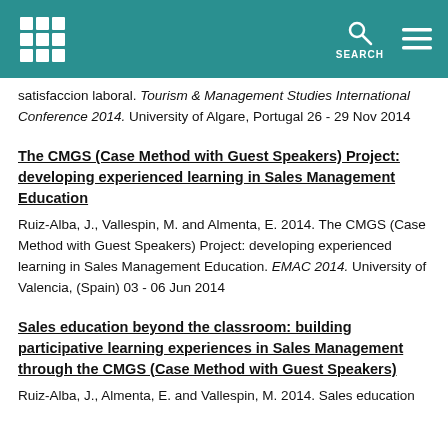[Institution logo] [Search] [Menu]
satisfaccion laboral. Tourism & Management Studies International Conference 2014. University of Algare, Portugal 26 - 29 Nov 2014
The CMGS (Case Method with Guest Speakers) Project: developing experienced learning in Sales Management Education
Ruiz-Alba, J., Vallespin, M. and Almenta, E. 2014. The CMGS (Case Method with Guest Speakers) Project: developing experienced learning in Sales Management Education. EMAC 2014. University of Valencia, (Spain) 03 - 06 Jun 2014
Sales education beyond the classroom: building participative learning experiences in Sales Management through the CMGS (Case Method with Guest Speakers)
Ruiz-Alba, J., Almenta, E. and Vallespin, M. 2014. Sales education beyond the classroom: building participative learning experiences in